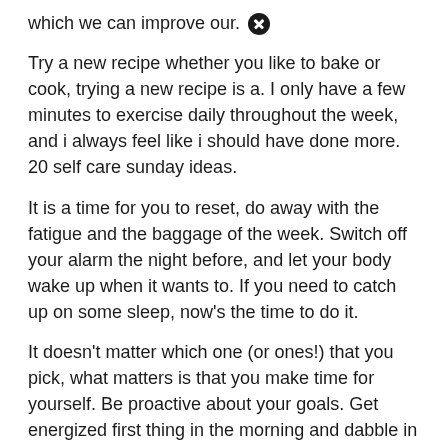which we can improve our. ✕
Try a new recipe whether you like to bake or cook, trying a new recipe is a. I only have a few minutes to exercise daily throughout the week, and i always feel like i should have done more. 20 self care sunday ideas.
It is a time for you to reset, do away with the fatigue and the baggage of the week. Switch off your alarm the night before, and let your body wake up when it wants to. If you need to catch up on some sleep, now's the time to do it.
It doesn't matter which one (or ones!) that you pick, what matters is that you make time for yourself. Be proactive about your goals. Get energized first thing in the morning and dabble in a bit of fresh fruit or yummy scrambled eggs.
If there is one thing i love, it is self care sunday. Self care holds a special place in my h✕art because i'm a mom and i